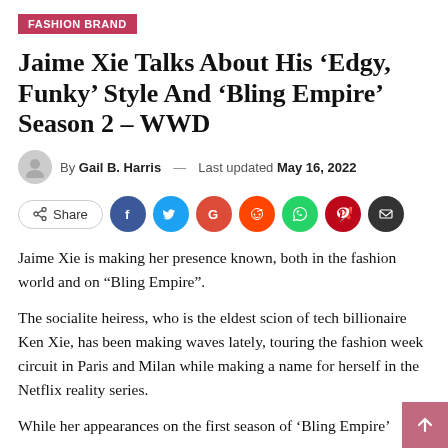FASHION BRAND
Jaime Xie Talks About His ‘Edgy, Funky’ Style And ‘Bling Empire’ Season 2 – WWD
By Gail B. Harris — Last updated May 16, 2022
[Figure (infographic): Social share buttons: Share, Facebook (blue circle), Twitter (cyan circle), Google (red circle), Reddit (orange circle), WhatsApp (green circle), Pinterest (dark red circle), Email (dark gray circle)]
Jaime Xie is making her presence known, both in the fashion world and on “Bling Empire”.
The socialite heiress, who is the eldest scion of tech billionaire Ken Xie, has been making waves lately, touring the fashion week circuit in Paris and Milan while making a name for herself in the Netflix reality series.
While her appearances on the first season of ‘Bling Empire’